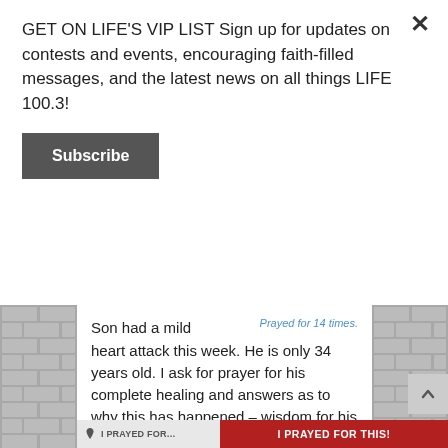GET ON LIFE'S VIP LIST Sign up for updates on contests and events, encouraging faith-filled messages, and the latest news on all things LIFE 100.3!
Subscribe
Prayed for 14 times.
Son had a mild heart attack this week. He is only 34 years old. I ask for prayer for his complete healing and answers as to why this has happened – wisdom for his medical team.
Thank you
Posted on March 7th, 2022
I PRAYED FOR THIS!